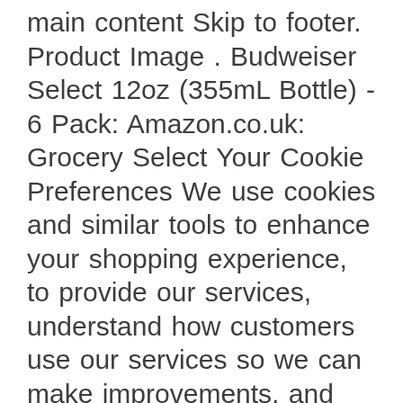main content Skip to footer. Product Image . Budweiser Select 12oz (355mL Bottle) - 6 Pack: Amazon.co.uk: Grocery Select Your Cookie Preferences We use cookies and similar tools to enhance your shopping experience, to provide our services, understand how customers use our services so we can make improvements, and display ads. Zum Hauptinhalt wechseln.de Hallo, Anmelden. So you can be good time. Explore thousands of wines, spirits and beers, and shop online for delivery or pickup in a store near you. Budweiser Select spends approximately twice as long as regular beers in the brewhouse, which results in lower carbohydrate and calorie content after